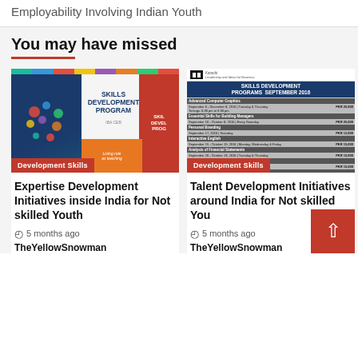Employability Involving Indian Youth
You may have missed
[Figure (photo): Skills Development Program brochure cover with colorful top bar, IBA CED logo, icons on blue background and orange accent]
Development Skills
Expertise Development Initiatives inside India for Not skilled Youth
5 months ago
TheYellowSnowman
[Figure (photo): Skills Development Programs September 2016 schedule listing courses with dates and fees in PKR]
Development Skills
Talent Development Initiatives around India for Not skilled Youth
5 months ago
TheYellowSnowman